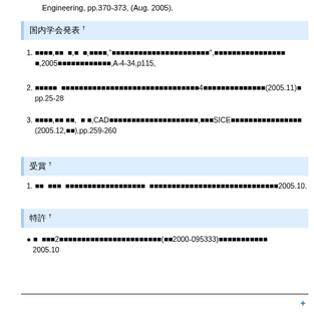Engineering, pp.370-373, (Aug. 2005).
国内学会発表 †
1. 山田太郎,田中 一,鈴 木,高橋,"自律移動ロボットのナビゲーションシステムの開発",情報処理学会全国大会,2005年情報処理学会全国大会,A-4-34,p115,
2. 佐藤次郎　ロボットの自律移動に関する研究とその応用についての第4回報告書と発表(2005.11)　pp.25-28
3. 伊藤花子,山本 武,　三郎,CAD情報を用いた自律移動ロボットの経路計画,第3回SICE中部支部研究発表会,(2005.12,名古屋),pp.259-260
受賞 †
1. 田中　　山田太郎　ロボット工学研究における優秀発表賞　　岡崎研究所よりロボット研究優秀発表賞受賞　2005.10.
特許 †
● 山　　特許第2号知的自律移動ロボットの制御方法に関する特許(特許2000-095333)の特許取得に関する報告 2005.10